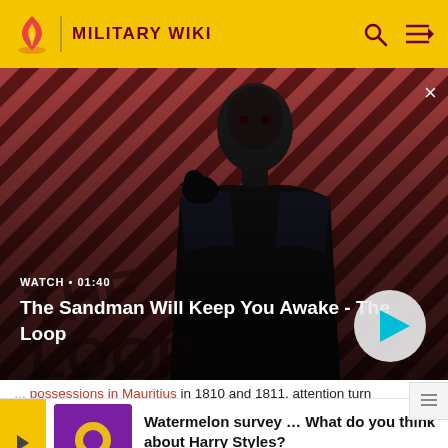MILITARY WIKI
[Figure (screenshot): Video thumbnail for 'The Sandman Will Keep You Awake - The Loop' with a person in dark clothing against a red diagonal striped background, with a raven on shoulder. Shows WATCH • 01:40 label and a play button.]
possessions in Mauritius in 1810 and 1811, attention turn to the...from...was...launc
[Figure (other): Advertisement banner: Watermelon survey graphic with text 'Watermelon survey … What do you think about Harry Styles?' and call to action 'TAKE THE SURVEY HERE']